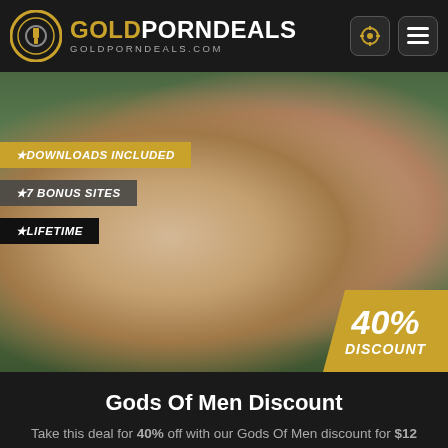GOLDPORNDEALS GOLDPORNDEALS.COM
[Figure (photo): Two tattooed men in an intimate outdoor scene with green hedge background, with promotional badges overlaid]
Gods Of Men Discount
Take this deal for 40% off with our Gods Of Men discount for $12 in savings.